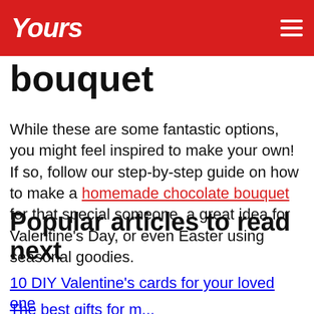Yours
bouquet
While these are some fantastic options, you might feel inspired to make your own! If so, follow our step-by-step guide on how to make a homemade chocolate bouquet for that special someone, a great idea for Valentine's Day, or even Easter using seasonal goodies.
Popular articles to read next
10 DIY Valentine's cards for your loved one
The best gifts for m...